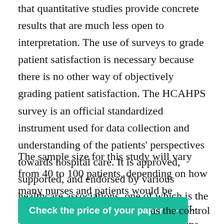that quantitative studies provide concrete results that are much less open to interpretation. The use of surveys to grade patient satisfaction is necessary because there is no other way of objectively grading patient satisfaction. The HCAHPS survey is an official standardized instrument used for data collection and understanding of the patients' perspectives towards hospital care. It is approved, supported, and endorsed by various healthcare associations, one of which is the National Quality Forum (NQF).
The sample size for this study will vary from 40 to 100 patients, depending on how many nurses and patients would be available for participation in the project. The patients will be split into two groups – the test group and the control group. The members of the test group ... as the control
[Figure (other): Teal/green call-to-action button with white bold text: 'Check the price of your paper →']